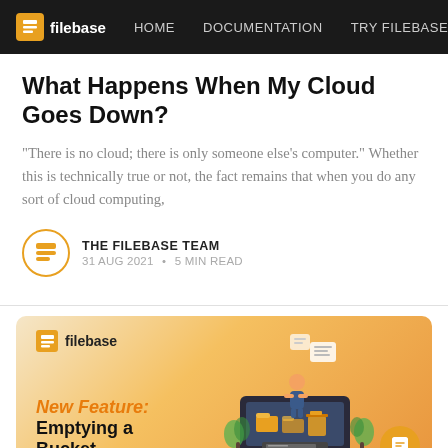filebase  HOME  DOCUMENTATION  TRY FILEBASE T
What Happens When My Cloud Goes Down?
“There is no cloud; there is only someone else’s computer.” Whether this is technically true or not, the fact remains that when you do any sort of cloud computing,
THE FILEBASE TEAM
31 AUG 2021 • 5 MIN READ
[Figure (illustration): Filebase promotional banner with orange gradient background, filebase logo top-left, orange italic text 'New Feature:' and bold black text 'Emptying a Bucket', illustration of laptop with folders and trash bin on right side, orange chat button bottom-right]